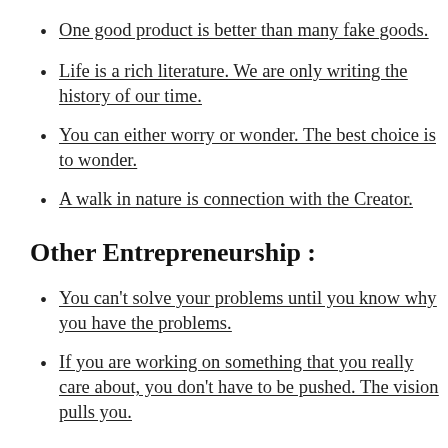One good product is better than many fake goods.
Life is a rich literature. We are only writing the history of our time.
You can either worry or wonder. The best choice is to wonder.
A walk in nature is connection with the Creator.
Other Entrepreneurship :
You can't solve your problems until you know why you have the problems.
If you are working on something that you really care about, you don't have to be pushed. The vision pulls you.